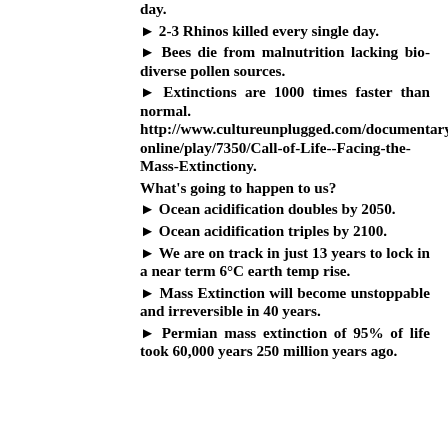day.
► 2-3 Rhinos killed every single day.
► Bees die from malnutrition lacking bio-diverse pollen sources.
► Extinctions are 1000 times faster than normal. http://www.cultureunplugged.com/documentary/watch-online/play/7350/Call-of-Life--Facing-the-Mass-Extinctiony.
What's going to happen to us?
► Ocean acidification doubles by 2050.
► Ocean acidification triples by 2100.
► We are on track in just 13 years to lock in a near term 6°C earth temp rise.
► Mass Extinction will become unstoppable and irreversible in 40 years.
► Permian mass extinction of 95% of life took 60,000 years 250 million years ago.